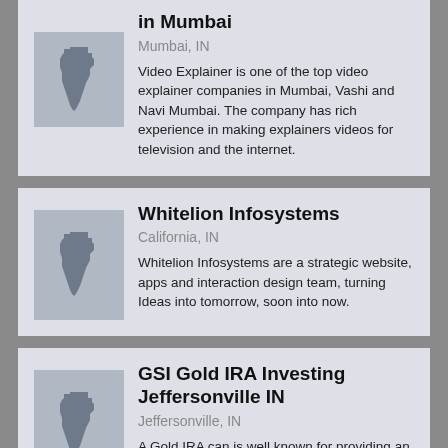in Mumbai
Mumbai, IN
Video Explainer is one of the top video explainer companies in Mumbai, Vashi and Navi Mumbai. The company has rich experience in making explainers videos for television and the internet.
Whitelion Infosystems
California, IN
Whitelion Infosystems are a strategic website, apps and interaction design team, turning Ideas into tomorrow, soon into now.
GSI Gold IRA Investing Jeffersonville IN
Jeffersonville, IN
A Gold IRA can is well known for providing an excellent extra layer of diversification in any investment